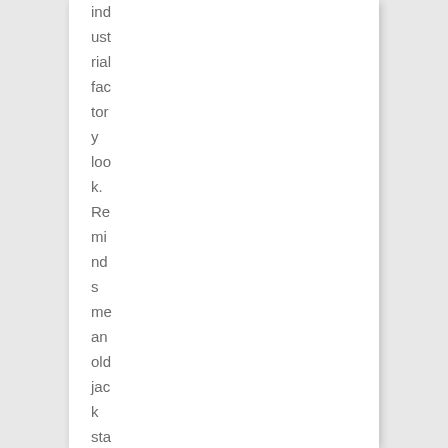ind ust rial fac tor y loo k. Re mi nd s me an old jac k sta nd or so